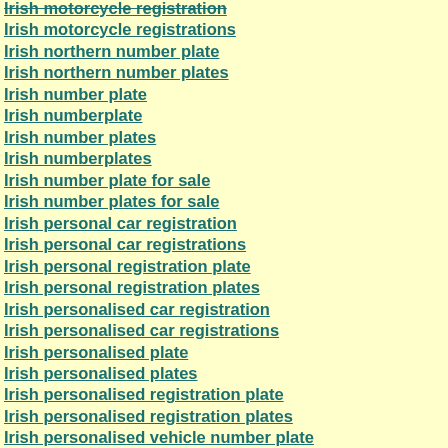Irish motorcycle registration
Irish motorcycle registrations
Irish northern number plate
Irish northern number plates
Irish number plate
Irish numberplate
Irish number plates
Irish numberplates
Irish number plate for sale
Irish number plates for sale
Irish personal car registration
Irish personal car registrations
Irish personal registration plate
Irish personal registration plates
Irish personalised car registration
Irish personalised car registrations
Irish personalised plate
Irish personalised plates
Irish personalised registration plate
Irish personalised registration plates
Irish personalised vehicle number plate
Irish personalised vehicle number plates